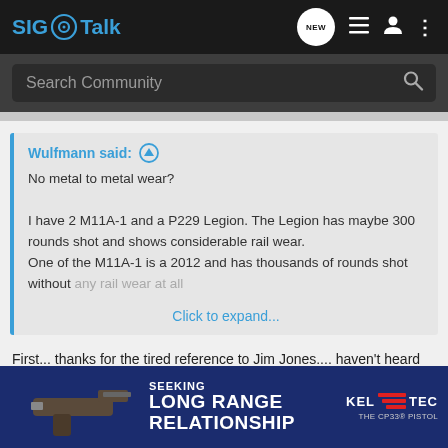SIG Talk
Search Community
Wulfmann said: ↑
No metal to metal wear?

I have 2 M11A-1 and a P229 Legion. The Legion has maybe 300 rounds shot and shows considerable rail wear.
One of the M11A-1 is a 2012 and has thousands of rounds shot without any rail wear at all

Click to expand...
First... thanks for the tired reference to Jim Jones.... haven't heard that in a while. Ver
[Figure (screenshot): Kel-Tec advertisement banner showing CP33 pistol with text SEEKING LONG RANGE RELATIONSHIP]